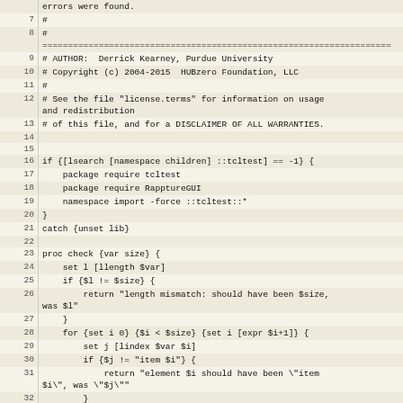Source code listing lines 7-34, Tcl script with author info and check procedure